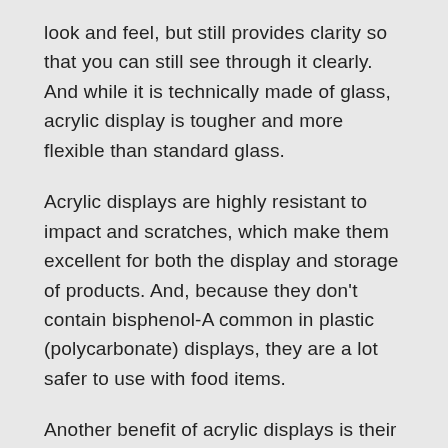look and feel, but still provides clarity so that you can still see through it clearly. And while it is technically made of glass, acrylic display is tougher and more flexible than standard glass.
Acrylic displays are highly resistant to impact and scratches, which make them excellent for both the display and storage of products. And, because they don't contain bisphenol-A common in plastic (polycarbonate) displays, they are a lot safer to use with food items.
Another benefit of acrylic displays is their wide availability of designs to choose from. Some companies like Industrial Plastic Solutions can even provide you with custom-made acrylic displays for your specific needs. More information about the company and their products can be found here: